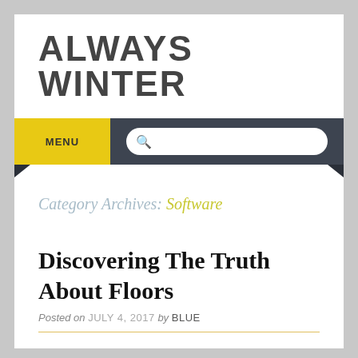ALWAYS WINTER
MENU
Category Archives: Software
Discovering The Truth About Floors
Posted on JULY 4, 2017 by BLUE